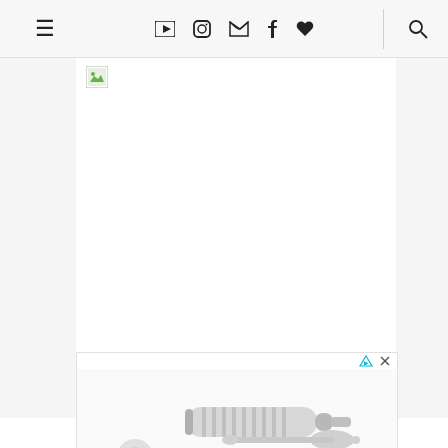Navigation bar with hamburger menu, social icons (YouTube, Instagram, Twitter, Facebook, Favorites), and search icon
[Figure (screenshot): Broken/missing image placeholder (green icon) in a white content region on a light gray background]
[Figure (photo): Advertisement box showing dental or medical tool products — a tube/syringe, a small capsule/tip, and a spoon-like applicator, all in gray/white tones, with an ad choice triangle icon and X close button in the top right corner]